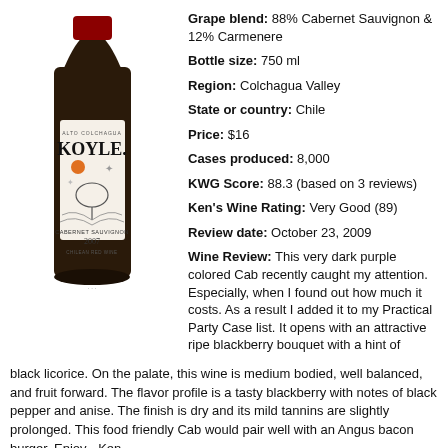[Figure (illustration): Wine bottle with Koyle Cabernet Sauvignon 2007 label, Alto Colchagua, Chilean Red Wine]
Grape blend: 88% Cabernet Sauvignon & 12% Carmenere
Bottle size: 750 ml
Region: Colchagua Valley
State or country: Chile
Price: $16
Cases produced: 8,000
KWG Score: 88.3 (based on 3 reviews)
Ken's Wine Rating: Very Good (89)
Review date: October 23, 2009
Wine Review: This very dark purple colored Cab recently caught my attention. Especially, when I found out how much it costs. As a result I added it to my Practical Party Case list. It opens with an attractive ripe blackberry bouquet with a hint of black licorice. On the palate, this wine is medium bodied, well balanced, and fruit forward. The flavor profile is a tasty blackberry with notes of black pepper and anise. The finish is dry and its mild tannins are slightly prolonged. This food friendly Cab would pair well with an Angus bacon burger. Enjoy - Ken